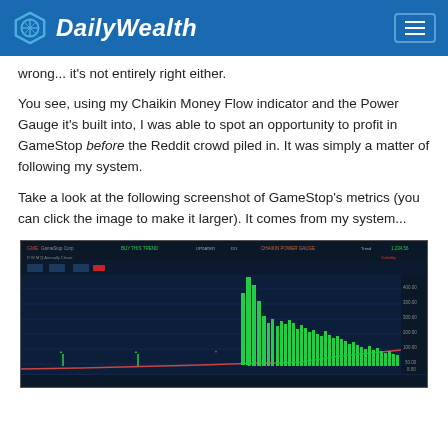DailyWealth
wrong... it's not entirely right either.
You see, using my Chaikin Money Flow indicator and the Power Gauge it's built into, I was able to spot an opportunity to profit in GameStop before the Reddit crowd piled in. It was simply a matter of following my system.
Take a look at the following screenshot of GameStop's metrics (you can click the image to make it larger). It comes from my system...
[Figure (screenshot): Screenshot of GameStop stock chart from a trading system (likely Chaikin Power Gauge), showing a dark-themed chart with a dramatic green price spike followed by elevated price levels. Chart shows candlestick/line data with green bars indicating volume or money flow signals.]